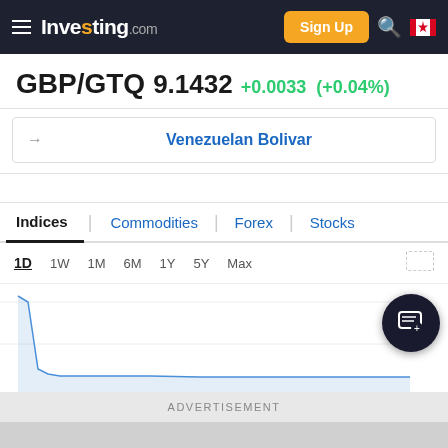Investing.com — Sign Up
GBP/GTQ 9.1432 +0.0033 (+0.04%)
Venezuelan Bolivar
Indices | Commodities | Forex | Stocks
1D  1W  1M  6M  1Y  5Y  Max
[Figure (line-chart): GBP/GTQ intraday price chart showing a sharp drop from approximately 250 and then stabilizing near the bottom of the chart area. Y-axis label: 250 visible on right side.]
ADVERTISEMENT